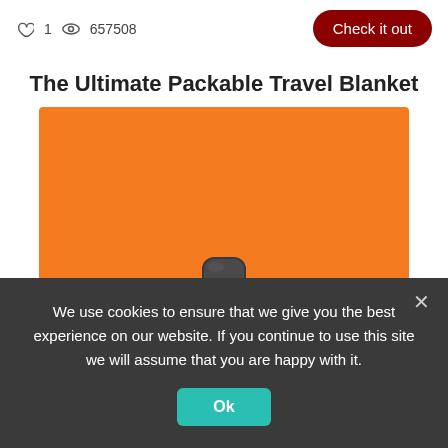♡ 1  👁 657508   Check it out
The Ultimate Packable Travel Blanket
[Figure (photo): Orange background product image showing a small dark packable pouch/case of a travel blanket]
We use cookies on our website to give you the most
We use cookies to ensure that we give you the best experience on our website. If you continue to use this site we will assume that you are happy with it.